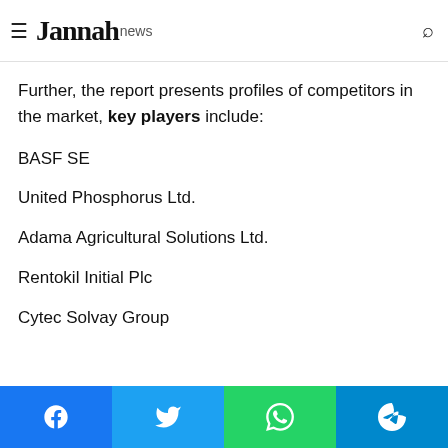Key companies Calcium Phosphide Fumigation-Sales share in...
Jannah news
Further, the report presents profiles of competitors in the market, key players include:
BASF SE
United Phosphorus Ltd.
Adama Agricultural Solutions Ltd.
Rentokil Initial Plc
Cytec Solvay Group
Facebook | Twitter | WhatsApp | Telegram